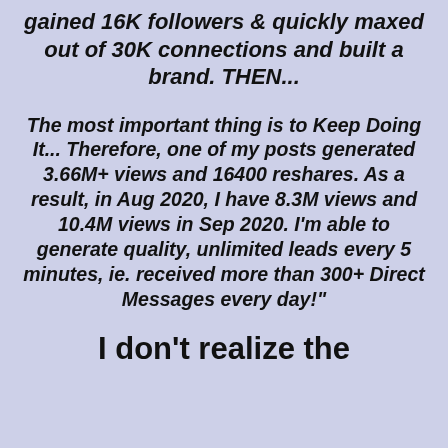gained 16K followers & quickly maxed out of 30K connections and built a brand. THEN...
The most important thing is to Keep Doing It... Therefore, one of my posts generated 3.66M+ views and 16400 reshares. As a result, in Aug 2020, I have 8.3M views and 10.4M views in Sep 2020. I'm able to generate quality, unlimited leads every 5 minutes, ie. received more than 300+ Direct Messages every day!"
I don't realize the